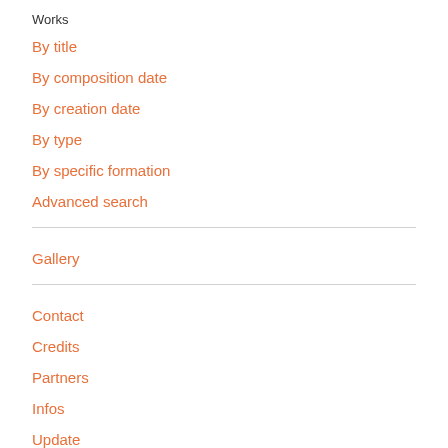Works
By title
By composition date
By creation date
By type
By specific formation
Advanced search
Gallery
Contact
Credits
Partners
Infos
Update